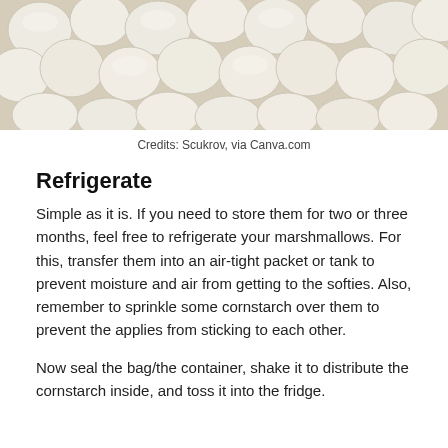[Figure (photo): Close-up photo of many white mini marshmallows piled together]
Credits: Scukrov, via Canva.com
Refrigerate
Simple as it is. If you need to store them for two or three months, feel free to refrigerate your marshmallows. For this, transfer them into an air-tight packet or tank to prevent moisture and air from getting to the softies. Also, remember to sprinkle some cornstarch over them to prevent the applies from sticking to each other.
Now seal the bag/the container, shake it to distribute the cornstarch inside, and toss it into the fridge.